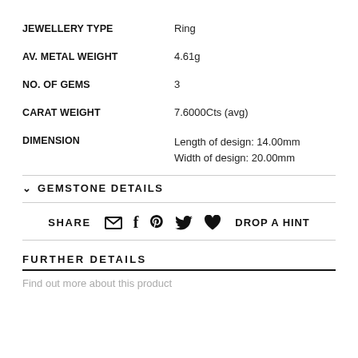| JEWELLERY TYPE | Ring |
| AV. METAL WEIGHT | 4.61g |
| NO. OF GEMS | 3 |
| CARAT WEIGHT | 7.6000Cts (avg) |
| DIMENSION | Length of design: 14.00mm
Width of design: 20.00mm |
GEMSTONE DETAILS
SHARE  DROP A HINT
FURTHER DETAILS
Find out more about this product